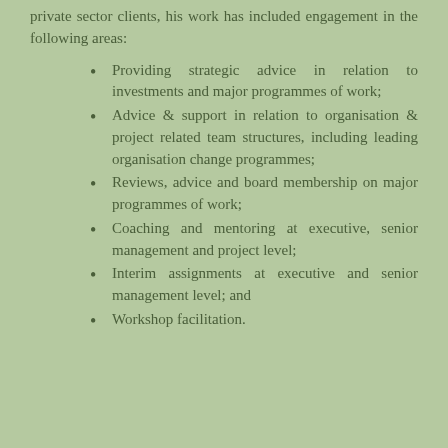private sector clients, his work has included engagement in the following areas:
Providing strategic advice in relation to investments and major programmes of work;
Advice & support in relation to organisation & project related team structures, including leading organisation change programmes;
Reviews, advice and board membership on major programmes of work;
Coaching and mentoring at executive, senior management and project level;
Interim assignments at executive and senior management level; and
Workshop facilitation.